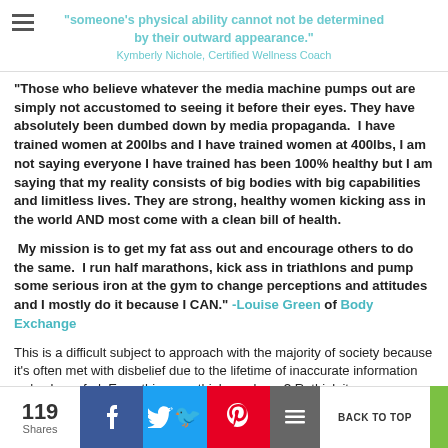someone's physical ability cannot not be determined by their outward appearance." Kymberly Nichole, Certified Wellness Coach
"Those who believe whatever the media machine pumps out are simply not accustomed to seeing it before their eyes. They have absolutely been dumbed down by media propaganda.  I have trained women at 200lbs and I have trained women at 400lbs, I am not saying everyone I have trained has been 100% healthy but I am saying that my reality consists of big bodies with big capabilities and limitless lives. They are strong, healthy women kicking ass in the world AND most come with a clean bill of health.
My mission is to get my fat ass out and encourage others to do the same.  I run half marathons, kick ass in triathlons and pump some serious iron at the gym to change perceptions and attitudes and I mostly do it because I CAN." -Louise Green of Body Exchange
This is a difficult subject to approach with the majority of society because it's often met with disbelief due to the lifetime of inaccurate information we've been fed. Everything you think you know? Rethink it.
It's important to note that the creation of our health
119 Shares  f  [Twitter bird]  [Pinterest P]  BACK TO TOP